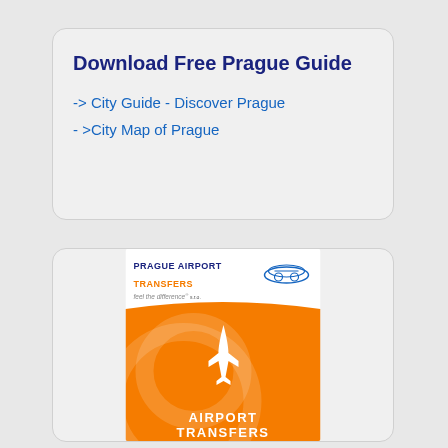Download Free Prague Guide
-> City Guide - Discover Prague
- >City Map of Prague
[Figure (logo): Prague Airport Transfers advertisement banner with orange background, airplane icon, and text 'AIRPORT TRANSFERS']